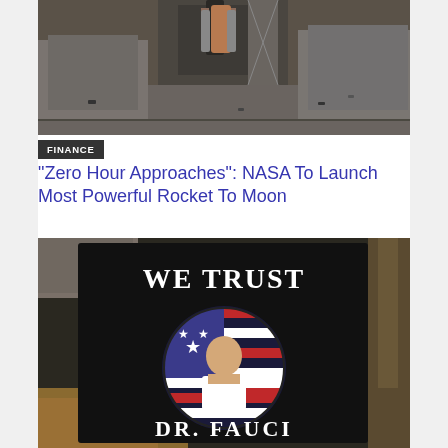[Figure (photo): Aerial view of NASA launch pad with rocket and surrounding industrial buildings, vehicles visible in parking areas]
FINANCE
“Zero Hour Approaches”: NASA To Launch Most Powerful Rocket To Moon
[Figure (photo): Black sign reading 'WE TRUST DR. FAUCI' with a circular photo of Dr. Fauci in front of an American flag, displayed outdoors near stone wall and tree]